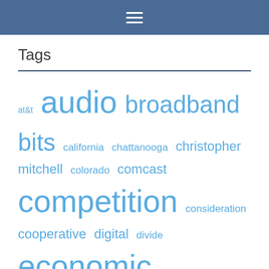≡
Tags
at&t audio broadband bits california chattanooga christopher mitchell colorado comcast competition consideration cooperative digital divide economic development event fcc federal fiber financing FTTH gigabit grant legislation local media roundup minnesota muni north carolina open access partnership podcast policy preemption rural school state laws tennessee transcript utility video Wireless
More